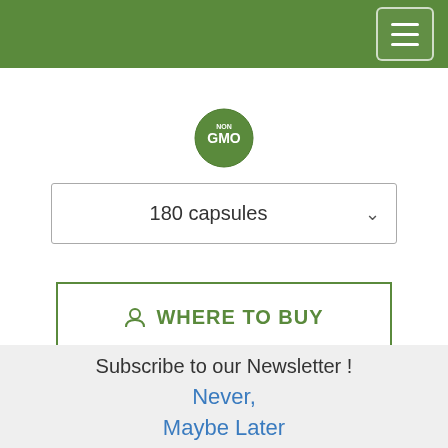Navigation header with hamburger menu
[Figure (logo): Non-GMO circular badge/seal in green with white text]
180 capsules
WHERE TO BUY
BE ADVISED: The curcumin contained in this product has been Carbon-14 tested to be 100% natural and contains no adulterants
Subscribe to our Newsletter !
Never,
Maybe Later